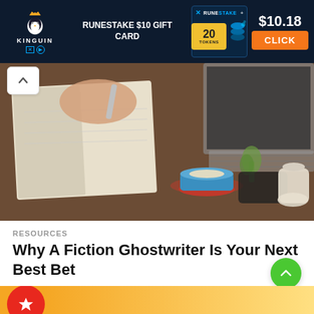[Figure (screenshot): Kinguin advertisement banner for RuneStake $10 Gift Card showing 20 tokens for $10.18 with a CLICK button]
[Figure (photo): Photo of a desk scene with a person writing in a notebook, a laptop keyboard visible in the background, a blue coffee cup on a saucer, a small plant, and a sugar dispenser on a wooden table]
RESOURCES
Why A Fiction Ghostwriter Is Your Next Best Bet
by SND Team 4 days ago